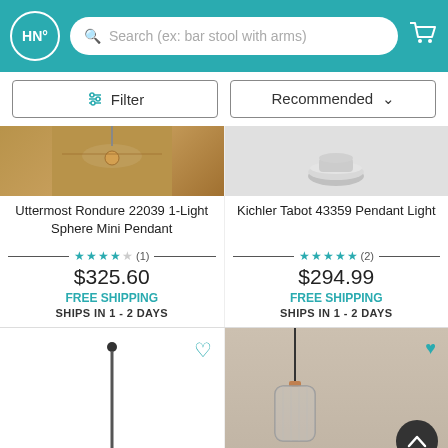[Figure (screenshot): Website header with HN logo, search bar reading 'Search (ex: bar stool with arms)', and cart icon on teal background]
[Figure (screenshot): Filter button with slider icon and Recommended dropdown sort button]
[Figure (photo): Uttermost Rondure 22039 ceiling fan product image with brown/gold tones]
Uttermost Rondure 22039 1-Light Sphere Mini Pendant
★★★★☆ (1)
$325.60
FREE SHIPPING
SHIPS IN 1 - 2 DAYS
[Figure (photo): Kichler Tabot 43359 pendant light product image showing silver/brushed nickel fixture]
Kichler Tabot 43359 Pendant Light
★★★★★ (2)
$294.99
FREE SHIPPING
SHIPS IN 1 - 2 DAYS
[Figure (photo): Floor lamp product image with black pole on white background]
[Figure (photo): Glass pendant light with copper fitting hanging against gray wall]